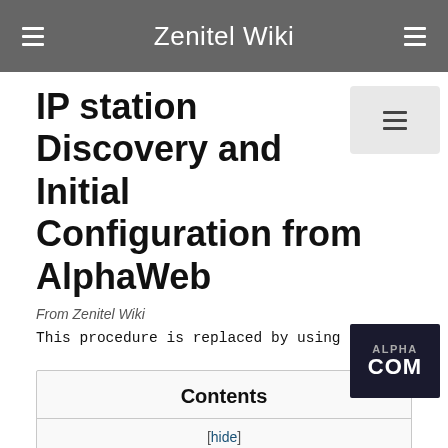Zenitel Wiki
IP station Discovery and Initial Configuration from AlphaWeb
From Zenitel Wiki
This procedure is replaced by using IM
[Figure (logo): ALPHA COM logo — dark background with ALPHA on top line and COM in large text below]
Contents
[hide]
1 A walkthrough example of discovering and configuring factory default IP stations